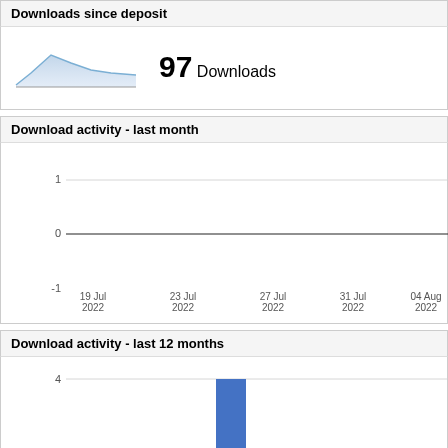Downloads since deposit
[Figure (area-chart): Small area chart showing downloads over time since deposit, filled with light blue]
97 Downloads
Download activity - last month
[Figure (line-chart): Line chart with y-axis from -1 to 1, all values at 0 (flat line), x-axis dates from 19 Jul 2022 to 04 Aug 2022]
Download activity - last 12 months
[Figure (bar-chart): Bar chart showing download activity over last 12 months, one visible bar reaching value 4, bar is blue]